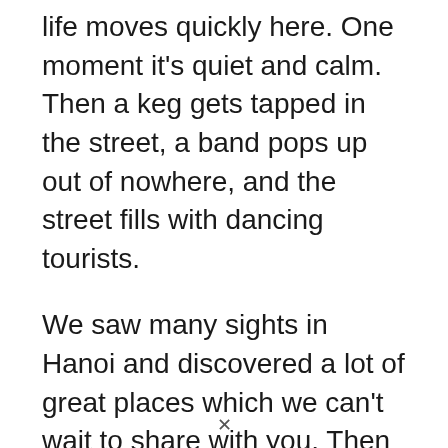life moves quickly here. One moment it's quiet and calm. Then a keg gets tapped in the street, a band pops up out of nowhere, and the street fills with dancing tourists.
We saw many sights in Hanoi and discovered a lot of great places which we can't wait to share with you. Then we went to Cat Ba Island.
Here, we learned another lesson. We thought Cat Ba might be a bit different than nearby Ha Long Bay, which is infamously touristy.
Unfortunately, we arrived right when the
✕